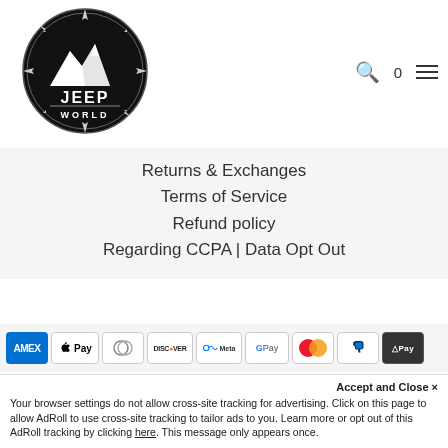[Figure (logo): Jeep World logo: circular compass design with mountain silhouette and text JEEP WORLD in black and white]
Returns & Exchanges
Terms of Service
Refund policy
Regarding CCPA | Data Opt Out
[Figure (other): Payment method icons row: AMEX, Apple Pay, Diners Club, Discover, Meta Pay, Google Pay, Mastercard, PayPal, O Pay]
Accept and Close ×
Your browser settings do not allow cross-site tracking for advertising. Click on this page to allow AdRoll to use cross-site tracking to tailor ads to you. Learn more or opt out of this AdRoll tracking by clicking here. This message only appears once.